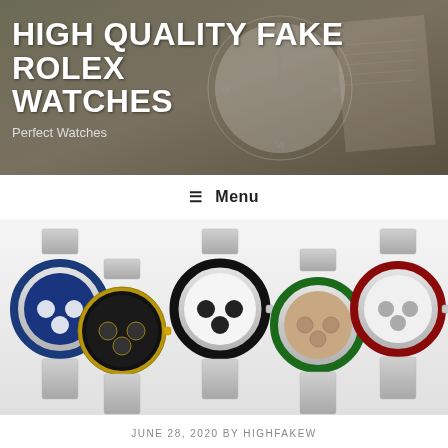HIGH QUALITY FAKE ROLEX WATCHES
Perfect Watches
≡ Menu
[Figure (photo): Five Omega Speedmaster chronograph watches displayed in a row on a light grey background, featuring various colored bezels including blue, black/gold, black, green, and red.]
JUNE 28, 2020 BY HIGHFAKEW